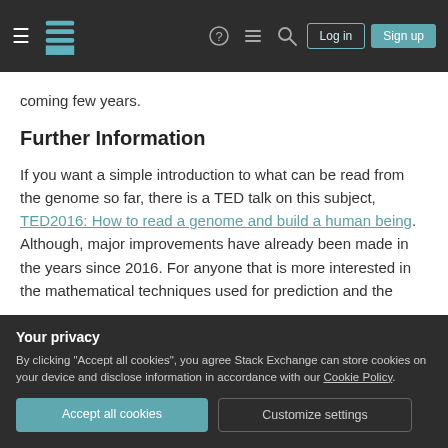Stack Exchange navigation bar with hamburger menu, logo, help, chat, search icons, Log in and Sign up buttons
coming few years.
Further Information
If you want a simple introduction to what can be read from the genome so far, there is a TED talk on this subject, TED2016: How to read a genome and build a human being. Although, major improvements have already been made in the years since 2016. For anyone that is more interested in the mathematical techniques used for prediction and the
Your privacy
By clicking "Accept all cookies", you agree Stack Exchange can store cookies on your device and disclose information in accordance with our Cookie Policy.
Accept all cookies
Customize settings